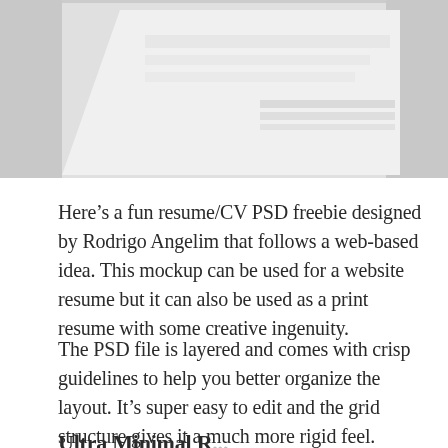[Figure (photo): A mockup photo showing a resume/CV printed document at an angle on a light grey background, partially visible]
Here’s a fun resume/CV PSD freebie designed by Rodrigo Angelim that follows a web-based idea. This mockup can be used for a website resume but it can also be used as a print resume with some creative ingenuity.
The PSD file is layered and comes with crisp guidelines to help you better organize the layout. It’s super easy to edit and the grid structure gives it a much more rigid feel.
Ultra Minimal R...